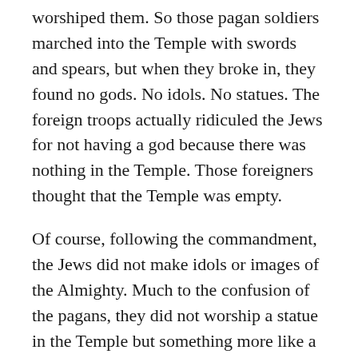worshiped them. So those pagan soldiers marched into the Temple with swords and spears, but when they broke in, they found no gods. No idols. No statues. The foreign troops actually ridiculed the Jews for not having a god because there was nothing in the Temple. Those foreigners thought that the Temple was empty.
Of course, following the commandment, the Jews did not make idols or images of the Almighty. Much to the confusion of the pagans, they did not worship a statue in the Temple but something more like a spirit, a power, a presence.
The same could be said of us. We have no statues, no idols to worship in the church. In seminary, as part of our general introduction to religion course, we had to visit a Hindu temple. There were gods everywhere. Compared to that temple, the church does look quite empty. I'm certain that if they walked into Holy Comforter, they would be